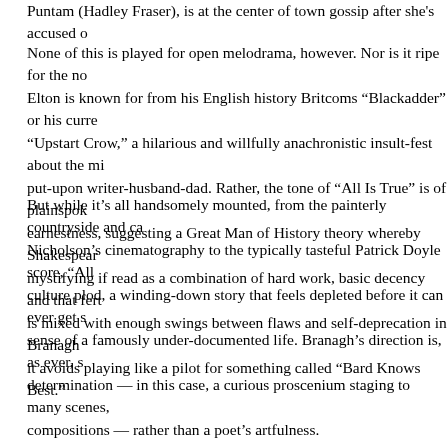Puntam (Hadley Fraser), is at the center of town gossip after she's accused o
None of this is played for open melodrama, however. Nor is it ripe for the no Elton is known for from his English history Britcoms “Blackadder” or his curre “Upstart Crow,” a hilarious and willfully anachronistic insult-fest about the mi put-upon writer-husband-dad. Rather, the tone of “All Is True” is of plainspok earnestness, suggesting a Great Man of History theory whereby Shakespear mystifying if read as a combination of hard work, basic decency and that fert is mixed with enough swings between flaws and self-deprecation in Branagh it avoids playing like a pilot for something called “Bard Knows Best.”
But while it’s all handsomely mounted, from the painterly countryside and ca Nicholson’s cinematography to the typically tasteful Patrick Doyle score, “All culture plod, a winding-down story that feels depleted before it can ever get s sense of a famously under-documented life. Branagh’s direction is, as ever, s determination — in this case, a curious proscenium staging to many scenes, compositions — rather than a poet’s artfulness.
There is one wonderfully allusive, fizzy and poignant scene featuring a majes McKellen as the visiting Earl of Southampton, a figure whose enigmatic relat may have inspired his most love-besotted verses. Their fireside exchange, a remembrance between artist and subject, between the flame-tinged past ano hints at what “All Is True” maybe should have been all along: a play.
If the goal was to bring a genius to earth, to celebrate the recognizably huma chronicler, then the decorousness of movies is as unnecessary as it was pre Shakespeare’s words and stories needed little but the generosity of great ac Watching Branagh and McKellen in gently dueling versions of Sonnet 29 pro rest of “All Is True,” unfortunately, strains to honor its beloved subject.